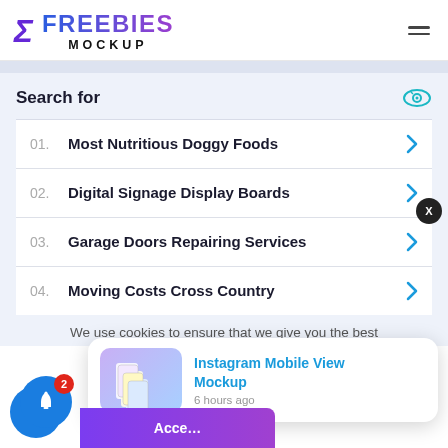FREEBIES MOCKUP
Search for
01. Most Nutritious Doggy Foods
02. Digital Signage Display Boards
03. Garage Doors Repairing Services
04. Moving Costs Cross Country
We use cookies to ensure that we give you the best
Instagram Mobile View Mockup
6 hours ago